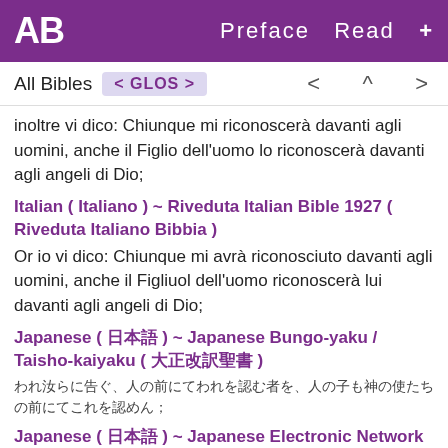AB  Preface  Read  +
All Bibles  < GLOS >  < ^ >
inoltre vi dico: Chiunque mi riconoscerà davanti agli uomini, anche il Figlio dell'uomo lo riconoscerà davanti agli angeli di Dio;
Italian ( Italiano ) ~ Riveduta Italian Bible 1927 ( Riveduta Italiano Bibbia )
Or io vi dico: Chiunque mi avrà riconosciuto davanti agli uomini, anche il Figliuol dell'uomo riconoscerà lui davanti agli angeli di Dio;
Japanese ( 日本語 ) ~ Japanese Bungo-yaku / Taisho-kaiyaku ( 大正改訳聖書 )
われ汝らに告ぐ、人の前にてわれを認む者を、人の子も神の使たちの前にてこれを認めん；
Japanese ( 日本語 ) ~ Japanese Electronic Network Bible ( 電子聖書ネットワーク )
わたしはあなた方に言います、人々の前でわたしを告白する者はだれでも、人の子も神の御使いたちの前でその人を告白します；